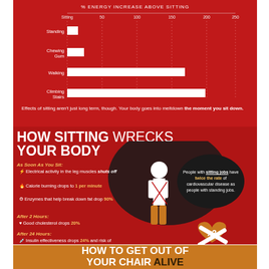[Figure (bar-chart): % Energy Increase Above Sitting]
Effects of sitting aren't just long term, though. Your body goes into meltdown the moment you sit down.
HOW SITTING WRECKS YOUR BODY
As Soon As You Sit: Electrical activity in the leg muscles shuts off
Calorie burning drops to 1 per minute
Enzymes that help break down fat drop 90%
After 2 Hours: Good cholesterol drops 20%
After 24 Hours: Insulin effectiveness drops 24% and risk of diabetes rises
People with sitting jobs have twice the rate of cardiovascular disease as people with standing jobs.
HOW TO GET OUT OF YOUR CHAIR ALIVE